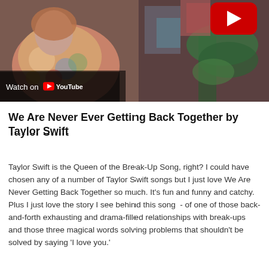[Figure (screenshot): YouTube video thumbnail showing a person in a floral outfit, with a 'Watch on YouTube' overlay at the bottom left and a YouTube play button icon at the top right.]
We Are Never Ever Getting Back Together by Taylor Swift
Taylor Swift is the Queen of the Break-Up Song, right? I could have chosen any of a number of Taylor Swift songs but I just love We Are Never Getting Back Together so much. It's fun and funny and catchy. Plus I just love the story I see behind this song  - of one of those back-and-forth exhausting and drama-filled relationships with break-ups and those three magical words solving problems that shouldn't be solved by saying 'I love you.'